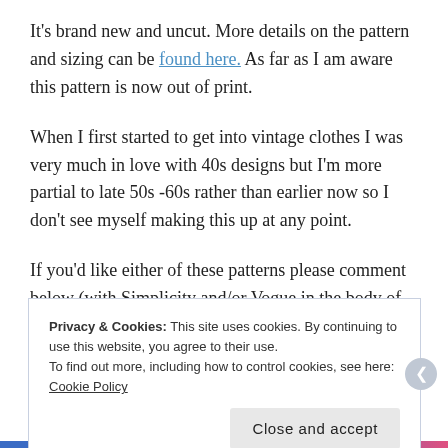It's brand new and uncut. More details on the pattern and sizing can be found here. As far as I am aware this pattern is now out of print.
When I first started to get into vintage clothes I was very much in love with 40s designs but I'm more partial to late 50s -60s rather than earlier now so I don't see myself making this up at any point.
If you'd like either of these patterns please comment below (with Simplicity and/or Vogue in the body of the text)  by 28th
Privacy & Cookies: This site uses cookies. By continuing to use this website, you agree to their use.
To find out more, including how to control cookies, see here: Cookie Policy
Close and accept